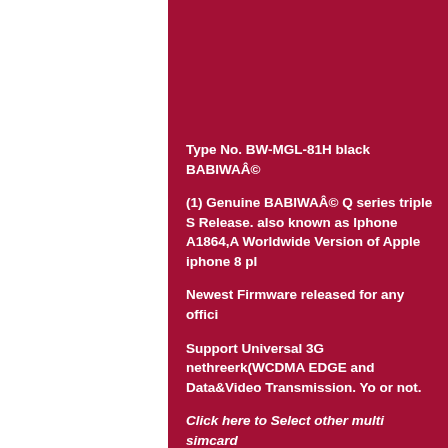Type No. BW-MGL-81H black BABIWAÂ©
(1) Genuine BABIWAÂ© Q series triple S Release. also known as Iphone A1864,A Worldwide Version of Apple iphone 8 pl
Newest Firmware released for any offici
Support Universal 3G nethreerk(WCDMA EDGE and Data&Video Transmission. Yo or not.
Click here to Select other multi simcard
(2).Newest technology to let your own m